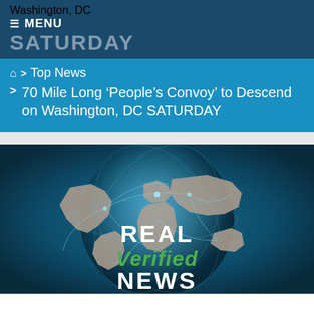Washington, DC
≡ MENU
SATURDAY
🏠 > Top News
70 Mile Long 'People's Convoy' to Descend on Washington, DC SATURDAY
[Figure (logo): Globe with world map and network connections showing 'REAL Verified NEWS' branding overlay on dark teal background]